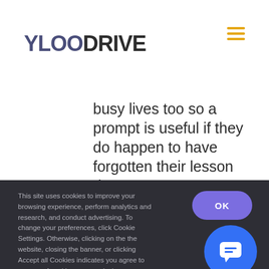[Figure (logo): YLOODRIVE logo — YLOO in dark blue/purple, DRIVE in dark gray, bold large text]
[Figure (other): Hamburger menu icon — three horizontal yellow/gold lines]
busy lives too so a prompt is useful if they do happen to have forgotten their lesson date
This site uses cookies to improve your browsing experience, perform analytics and research, and conduct advertising. To change your preferences, click Cookie Settings. Otherwise, clicking on the the website, closing the banner, or clicking Accept all Cookies indicates you agree to our use of cookies on your device.
[Figure (other): OK button — purple rounded rectangle with white text OK]
[Figure (other): Chat button — blue circle with white speech bubble/message icon]